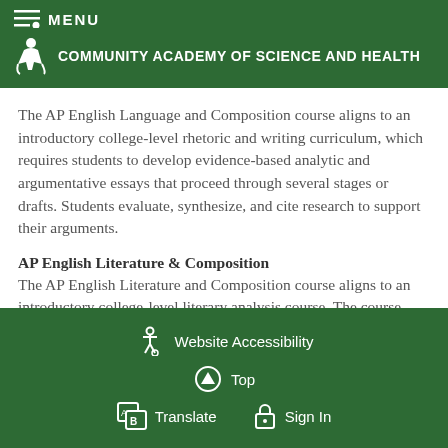MENU
COMMUNITY ACADEMY OF SCIENCE AND HEALTH
The AP English Language and Composition course aligns to an introductory college-level rhetoric and writing curriculum, which requires students to develop evidence-based analytic and argumentative essays that proceed through several stages or drafts. Students evaluate, synthesize, and cite research to support their arguments.
AP English Literature & Composition
The AP English Literature and Composition course aligns to an introductory college-level literary analysis course. The course engages students in the close reading and critical
Website Accessibility  Top  Translate  Sign In